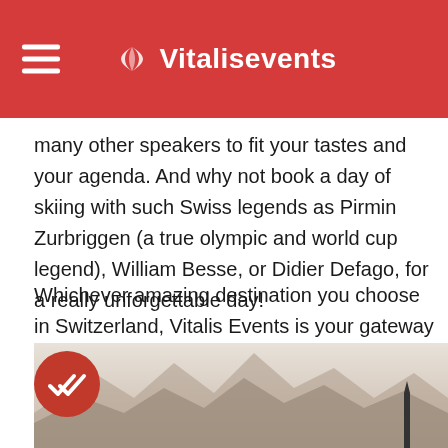Vitalisevents
many other speakers to fit your tastes and your agenda. And why not book a day of skiing with such Swiss legends as Pirmin Zurbriggen (a true olympic and world cup legend), William Besse, or Didier Defago, for a really unforgettable day!
Whichever amazing destination you choose in Switzerland, Vitalis Events is your gateway to a perfectly organized stay, with guaranteed fun and memories along the way. Let us know your every desire, small or large, and we'll make it happen!
[Figure (photo): Mountain landscape photo with a red circle containing a double checkmark icon in the lower left corner]